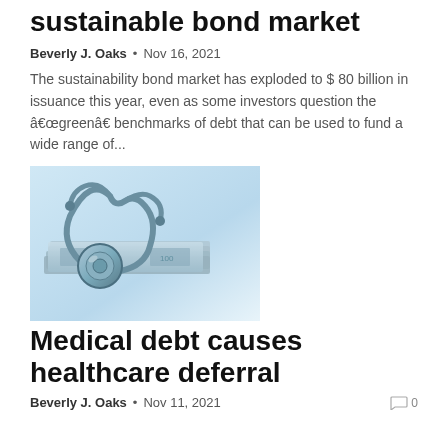sustainable bond market
Beverly J. Oaks  •  Nov 16, 2021
The sustainability bond market has exploded to $ 80 billion in issuance this year, even as some investors question the â€œgreenâ€ benchmarks of debt that can be used to fund a wide range of...
[Figure (photo): A stethoscope resting on top of US dollar bills, with a light blue tinted background.]
Medical debt causes healthcare deferral
Beverly J. Oaks  •  Nov 11, 2021